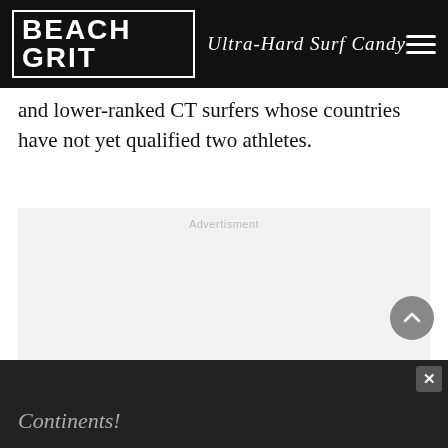BEACH GRIT Ultra-Hard Surf Candy
and lower-ranked CT surfers whose countries have not yet qualified two athletes.
[Figure (other): Advertisement placeholder box with light grey background and 'Advertisment' label in light grey text]
[Figure (other): Scroll-up button: circular grey button with upward-pointing chevron arrow]
[Figure (other): Bottom advertisement banner bar in dark grey with close (X) button in top-right corner]
Continents!